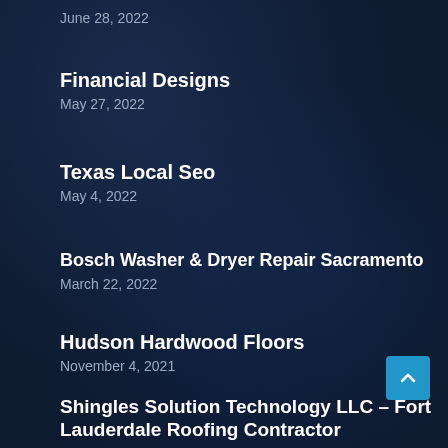June 28, 2022
Financial Designs
May 27, 2022
Texas Local Seo
May 4, 2022
Bosch Washer & Dryer Repair Sacramento
March 22, 2022
Hudson Hardwood Floors
November 4, 2021
Shingles Solution Technology LLC – Fort Lauderdale Roofing Contractor